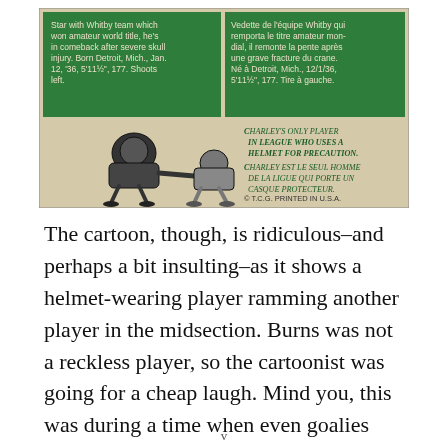[Figure (illustration): Hockey card back showing bilingual player description in green panels (English and French), a cartoon of a helmeted player ramming another player in the midsection, text noting 'Charley's only player in league who uses a helmet for precaution' in English and French, and copyright line '© T.C.G. PRINTED IN U.S.A.']
The cartoon, though, is ridiculous–and perhaps a bit insulting–as it shows a helmet-wearing player ramming another player in the midsection. Burns was not a reckless player, so the cartoonist was going for a cheap laugh. Mind you, this was during a time when even goalies didn't wear masks and anyone wearing
v